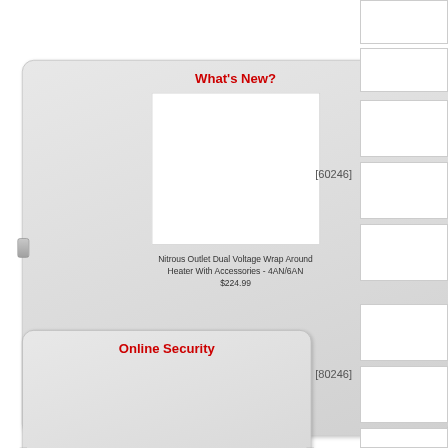What's New?
Nitrous Outlet Dual Voltage Wrap Around Heater With Accessories - 4AN/6AN $224.99
Online Security
[60246]
[80246]
[62028]